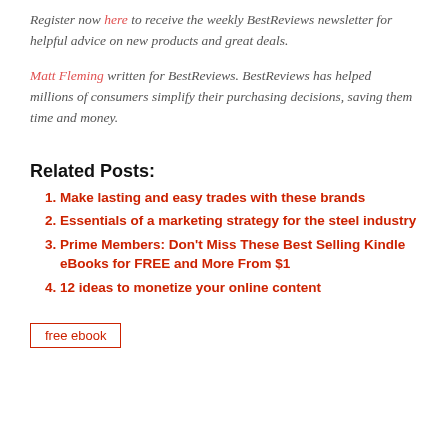Register now here to receive the weekly BestReviews newsletter for helpful advice on new products and great deals.
Matt Fleming written for BestReviews. BestReviews has helped millions of consumers simplify their purchasing decisions, saving them time and money.
Related Posts:
Make lasting and easy trades with these brands
Essentials of a marketing strategy for the steel industry
Prime Members: Don't Miss These Best Selling Kindle eBooks for FREE and More From $1
12 ideas to monetize your online content
free ebook